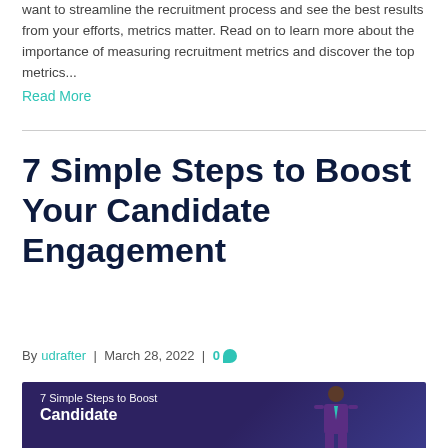want to streamline the recruitment process and see the best results from your efforts, metrics matter. Read on to learn more about the importance of measuring recruitment metrics and discover the top metrics...
Read More
7 Simple Steps to Boost Your Candidate Engagement
By udrafter | March 28, 2022 | 0
[Figure (illustration): Blog post featured image with dark purple/navy background showing '7 Simple Steps to Boost Candidate' text and an illustrated person in a purple suit]